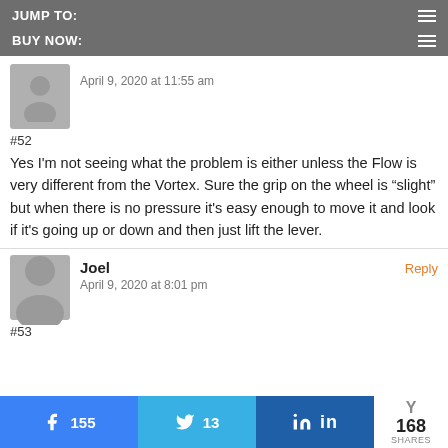JUMP TO:
BUY NOW:
April 9, 2020 at 11:55 am
#52
Yes I'm not seeing what the problem is either unless the Flow is very different from the Vortex. Sure the grip on the wheel is “slight” but when there is no pressure it's easy enough to move it and look if it's going up or down and then just lift the lever.
Joel
April 9, 2020 at 8:01 pm
#53
155
13
168 SHARES